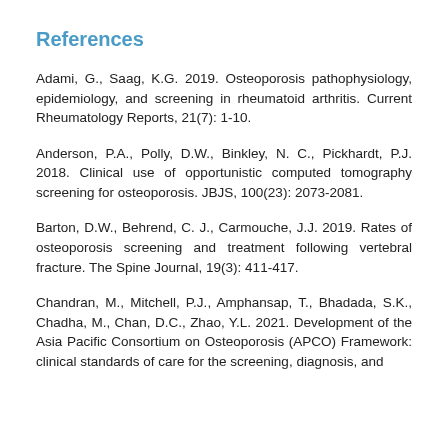References
Adami, G., Saag, K.G. 2019. Osteoporosis pathophysiology, epidemiology, and screening in rheumatoid arthritis. Current Rheumatology Reports, 21(7): 1-10.
Anderson, P.A., Polly, D.W., Binkley, N. C., Pickhardt, P.J. 2018. Clinical use of opportunistic computed tomography screening for osteoporosis. JBJS, 100(23): 2073-2081.
Barton, D.W., Behrend, C. J., Carmouche, J.J. 2019. Rates of osteoporosis screening and treatment following vertebral fracture. The Spine Journal, 19(3): 411-417.
Chandran, M., Mitchell, P.J., Amphansap, T., Bhadada, S.K., Chadha, M., Chan, D.C., Zhao, Y.L. 2021. Development of the Asia Pacific Consortium on Osteoporosis (APCO) Framework: clinical standards of care for the screening, diagnosis, and